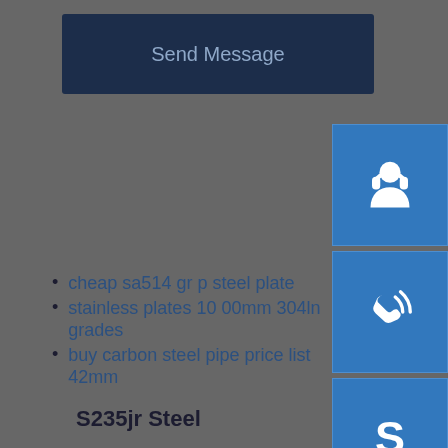Send Message
[Figure (illustration): Customer support / headset icon button (blue square)]
[Figure (illustration): Phone with signal waves icon button (blue square)]
[Figure (illustration): Skype logo icon button (blue square)]
S235jr Steel
cheap sa514 gr p steel plate
stainless plates 10 00mm 304ln grades
buy carbon steel pipe price list 42mm
3482051131 truck clutch cover 350mm clutch pressure plate
prime stainless steel 316 316l coil
201 cold rolled high strength coil